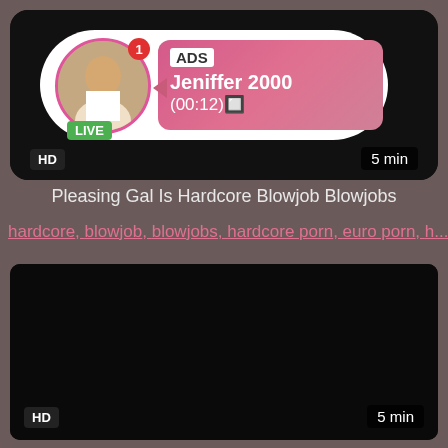[Figure (screenshot): Live ad banner showing a profile avatar with LIVE badge, ADS label, username Jeniffer 2000, timestamp (00:12), HD badge, 5 min duration]
Pleasing Gal Is Hardcore Blowjob Blowjobs
hardcore, blowjob, blowjobs, hardcore porn, euro porn, h...
[Figure (screenshot): Dark video thumbnail with HD badge and 5 min duration label]